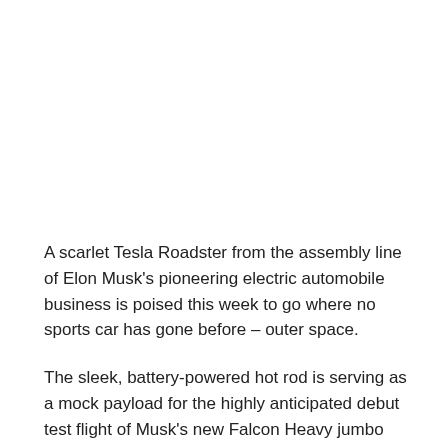A scarlet Tesla Roadster from the assembly line of Elon Musk's pioneering electric automobile business is poised this week to go where no sports car has gone before – outer space.
The sleek, battery-powered hot rod is serving as a mock payload for the highly anticipated debut test flight of Musk's new Falcon Heavy jumbo rocket, set for liftoff as